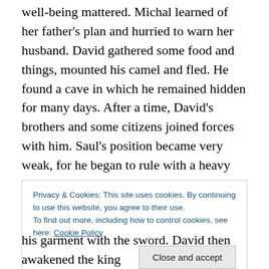well-being mattered. Michal learned of her father's plan and hurried to warn her husband. David gathered some food and things, mounted his camel and fled. He found a cave in which he remained hidden for many days. After a time, David's brothers and some citizens joined forces with him. Saul's position became very weak, for he began to rule with a heavy hand. He ill-treated the learned, tortured the reciters of the Talmud, and terrorized his soldiers. This worsened his position, and his subjects began to turn against him. He decided to go war against David. Hearing this news, David marched to confront Saul's army.
Privacy & Cookies: This site uses cookies. By continuing to use this website, you agree to their use.
To find out more, including how to control cookies, see here: Cookie Policy
his garment with the sword. David then awakened the king